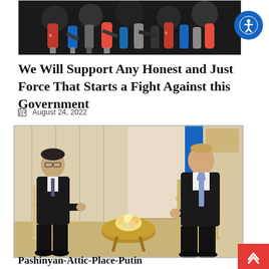[Figure (photo): Top image showing microphones at a press conference, partially visible at top of page]
We Will Support Any Honest and Just Force That Starts a Fight Against this Government
August 24, 2022
[Figure (photo): Two men in dark suits seated in chairs facing each other in a formal meeting room with curtains and a round table with flowers between them]
Pashinyan-Attic-Place-Putin